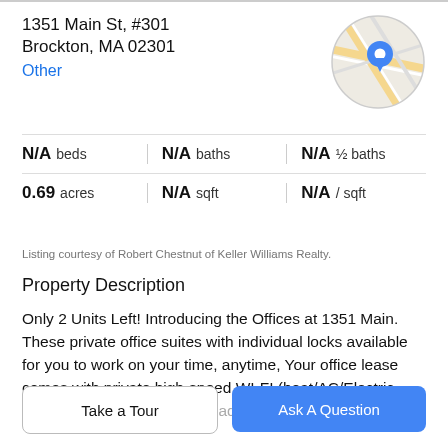1351 Main St, #301
Brockton, MA 02301
Other
[Figure (map): Circular map thumbnail showing street map with blue location pin marker]
| N/A beds | N/A baths | N/A ½ baths |
| 0.69 acres | N/A sqft | N/A / sqft |
Listing courtesy of Robert Chestnut of Keller Williams Realty.
Property Description
Only 2 Units Left! Introducing the Offices at 1351 Main. These private office suites with individual locks available for you to work on your time, anytime, Your office lease comes with private high-speed WI-FI (heat/AC/Electric included as well and its own address and mailbox
Take a Tour
Ask A Question